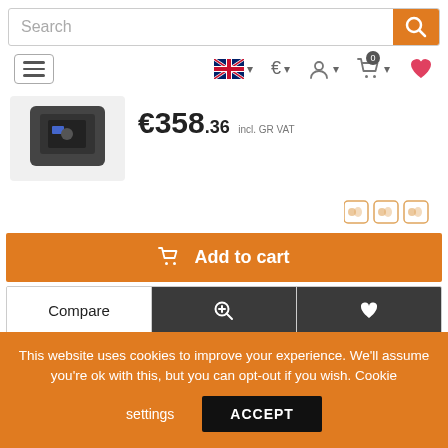[Figure (screenshot): E-commerce website screenshot showing search bar, navigation icons (hamburger menu, UK flag language selector, Euro currency selector, account icon, cart with badge 0, heart icon), a product with price €358.36 incl. GR VAT, payment icons, Add to cart button, Compare/zoom/heart action row, a partial next product with 12% discount badge and YAMAHA product name, and a cookie consent banner at the bottom.]